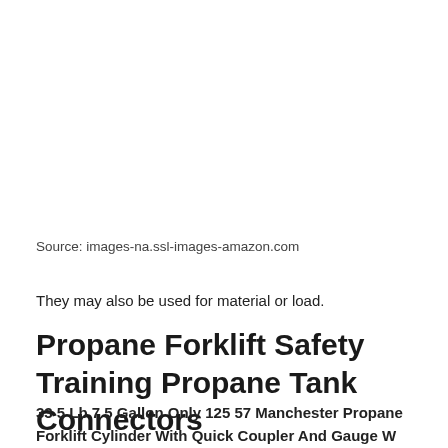Source: images-na.ssl-images-amazon.com
They may also be used for material or load.
Propane Forklift Safety Training Propane Tank Connectors
33 5 Lb 7 5 Gallon Only 125 57 Manchester Propane Forklift Cylinder With Quick Coupler And Gauge W Propane Tank Propane Tank Gauge Forklift Propane Tank. Forklift propane offers commercial propane